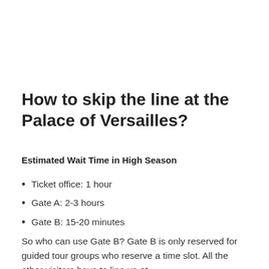How to skip the line at the Palace of Versailles?
Estimated Wait Time in High Season
Ticket office: 1 hour
Gate A: 2-3 hours
Gate B: 15-20 minutes
So who can use Gate B? Gate B is only reserved for guided tour groups who reserve a time slot. All the other visitors have to line up at